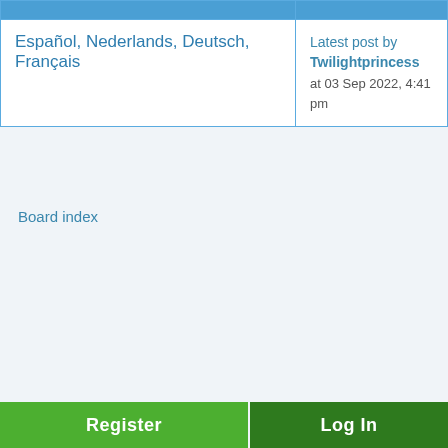|  |  |
| --- | --- |
| Español, Nederlands, Deutsch, Français | Latest post by Twilightprincess at 03 Sep 2022, 4:41 pm |
Board index
Register
Log In